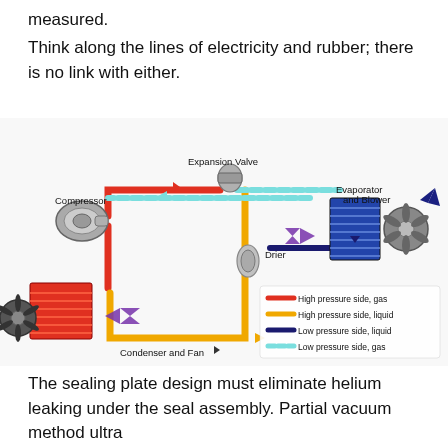measured.
Think along the lines of electricity and rubber; there is no link with either.
[Figure (schematic): Automotive air conditioning system schematic showing the refrigeration cycle with labeled components: Compressor (left), Expansion Valve (top center), Evaporator and Blower (top right), Drier (center), and Condenser and Fan (bottom left). Color-coded lines indicate: red = High pressure side gas, yellow = High pressure side liquid, dark navy = Low pressure side liquid, cyan = Low pressure side gas. Arrows show flow direction.]
The sealing plate design must eliminate helium leaking under the seal assembly. Partial vacuum method ultra stiff test [edit] has not yet the helium leaks and stiffness